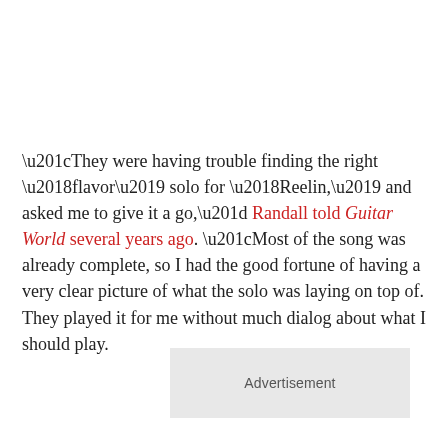“They were having trouble finding the right ‘flavor’ solo for ‘Reelin,’ and asked me to give it a go,” Randall told Guitar World several years ago. “Most of the song was already complete, so I had the good fortune of having a very clear picture of what the solo was laying on top of. They played it for me without much dialog about what I should play.
Advertisement